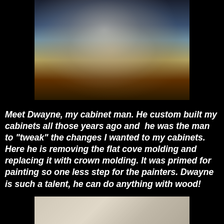[Figure (photo): A person photographed through a reflective or plastic-wrapped surface, partially obscured. Dark background with warm and cool tones visible.]
Meet Dwayne, my cabinet man. He custom built my cabinets all those years ago and  he was the man to "tweak" the changes I wanted to my cabinets. Here he is removing the flat cove molding and replacing it with crown molding. It was primed for painting so one less step for the painters. Dwayne is such a talent, he can do anything with wood!
[Figure (photo): Partial photo at the bottom of the page, showing what appears to be a light-colored surface or material, possibly crown molding or cabinet work.]